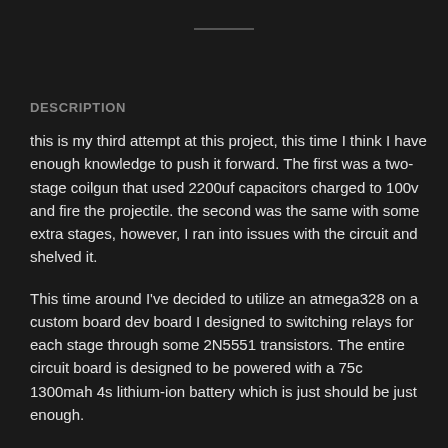DESCRIPTION
this is my third attempt at this project, this time I think I have enough knowledge to push it forward. The first was a two-stage coilgun that used 2200uf capacitors charged to 100v and fire the projectile. the second was the same with some extra stages, however, I ran into issues with the circuit and shelved it.
This time around I've decided to utilize an atmega328 on a custom board dev board I designed to switching relays for each stage through some 2N5551 transistors. The entire circuit board is designed to be powered with a 75c 1300mah 4s lithium-ion battery which is just should be just enough.
I know I would have better results if I were to have some